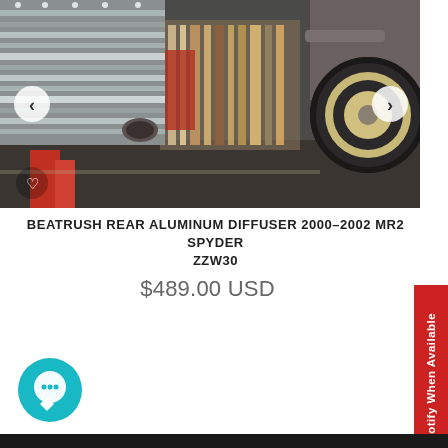[Figure (photo): Undercarriage photo of a car showing an aluminum rear diffuser installed, with car tire visible and workshop/garage background. Navigation arrows on left and right, heart/wishlist icon on lower left.]
BEATRUSH REAR ALUMINUM DIFFUSER 2000-2002 MR2 SPYDER ZZW30
$489.00 USD
[Figure (other): Red vertical 'Notify When Available' button tab on right edge]
[Figure (other): Teal circular chat/support button icon at bottom left]